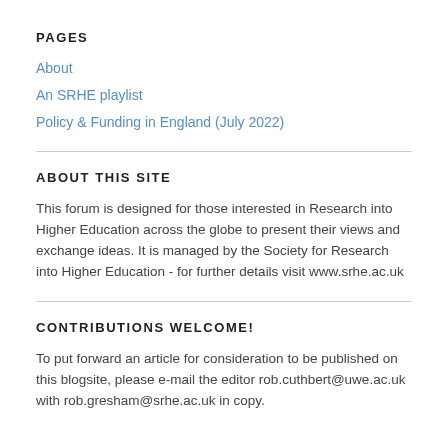PAGES
About
An SRHE playlist
Policy & Funding in England (July 2022)
ABOUT THIS SITE
This forum is designed for those interested in Research into Higher Education across the globe to present their views and exchange ideas. It is managed by the Society for Research into Higher Education - for further details visit www.srhe.ac.uk
CONTRIBUTIONS WELCOME!
To put forward an article for consideration to be published on this blogsite, please e-mail the editor rob.cuthbert@uwe.ac.uk with rob.gresham@srhe.ac.uk in copy.